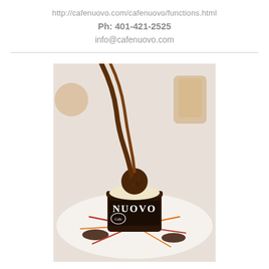http://cafenuovo.com/cafenuovo/functions.html
Ph: 401-421-2525
info@cafenuovo.com
[Figure (photo): Close-up photo of a Cafe Nuovo branded chocolate dessert cup with cream and chocolate truffle on top, garnished with chocolate sauce on a white plate.]